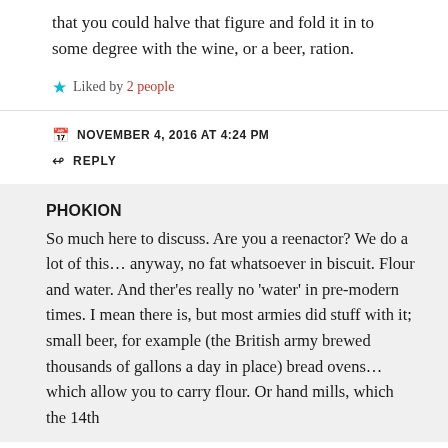that you could halve that figure and fold it in to some degree with the wine, or a beer, ration.
Liked by 2 people
NOVEMBER 4, 2016 AT 4:24 PM
REPLY
PHOKION
So much here to discuss. Are you a reenactor? We do a lot of this… anyway, no fat whatsoever in biscuit. Flour and water. And ther'es really no 'water' in pre-modern times. I mean there is, but most armies did stuff with it; small beer, for example (the British army brewed thousands of gallons a day in place) bread ovens… which allow you to carry flour. Or hand mills, which the 14th